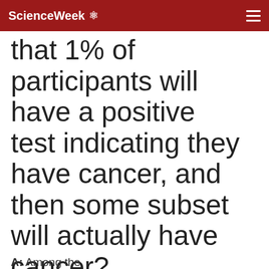ScienceWeek ⚛
that 1% of participants will have a positive test indicating they have cancer, and then some subset will actually have cancer?
A: Among the